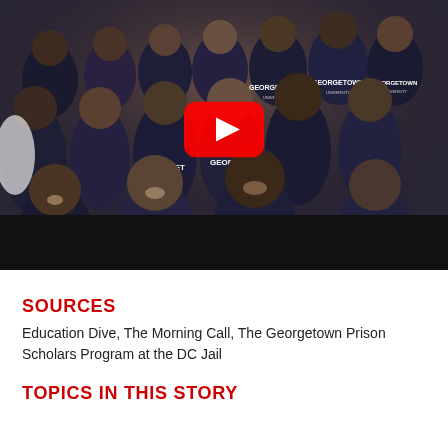[Figure (photo): Group photo of people smiling, many wearing Georgetown University navy blue t-shirts, with a YouTube play button overlay in the center. The bottom portion is a dark/black bar.]
SOURCES
Education Dive, The Morning Call, The Georgetown Prison Scholars Program at the DC Jail
TOPICS IN THIS STORY